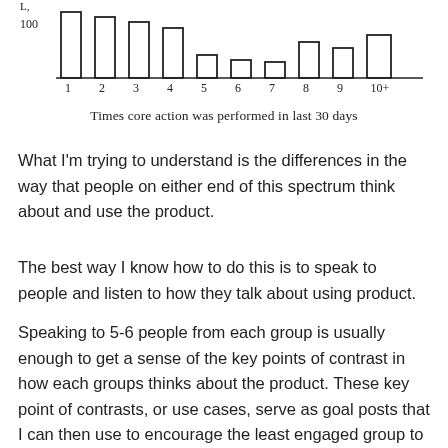[Figure (bar-chart): Times core action was performed in last 30 days]
Times core action was performed in last 30 days
What I'm trying to understand is the differences in the way that people on either end of this spectrum think about and use the product.
The best way I know how to do this is to speak to people and listen to how they talk about using product.
Speaking to 5-6 people from each group is usually enough to get a sense of the key points of contrast in how each groups thinks about the product. These key point of contrasts, or use cases, serve as goal posts that I can then use to encourage the least engaged group to head towards.